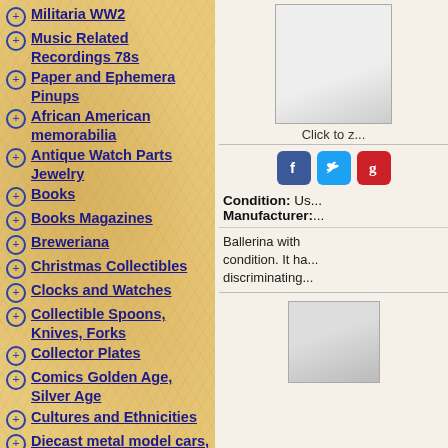Militaria WW2
Music Related Recordings 78s
Paper and Ephemera Pinups
African American memorabilia
Antique Watch Parts Jewelry
Books
Books Magazines
Breweriana
Christmas Collectibles
Clocks and Watches
Collectible Spoons, Knives, Forks
Collector Plates
Comics Golden Age, Silver Age
Cultures and Ethnicities
Diecast metal model cars, trucks, motorcycles
Figurines
Holiday and Seasonal
Hummel figurines, plates, bells
Jewelry
Jewelry Costume
Jewelry Fine
Jewelry Miscellaneous
[Figure (photo): Product image top]
Click to z...
[Figure (other): Social icons: Facebook, Twitter, Pinterest]
Condition: Us... Manufacturer...
Ballerina with ... condition. It ha... discriminating...
[Figure (photo): Product image bottom]